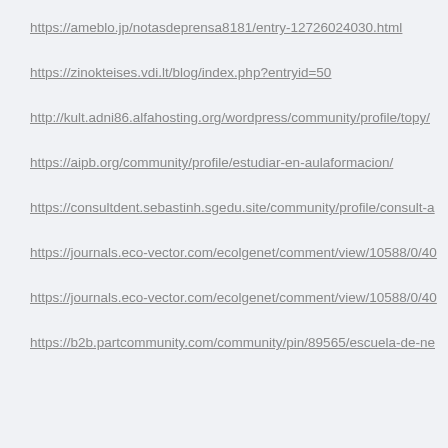https://ameblo.jp/notasdeprensa8181/entry-12726024030.html
https://zinokteises.vdi.lt/blog/index.php?entryid=50
http://kult.adni86.alfahosting.org/wordpress/community/profile/topy/
https://aipb.org/community/profile/estudiar-en-aulaformacion/
https://consultdent.sebastinh.sgedu.site/community/profile/consult-a
https://journals.eco-vector.com/ecolgenet/comment/view/10588/0/40
https://journals.eco-vector.com/ecolgenet/comment/view/10588/0/40
https://b2b.partcommunity.com/community/pin/89565/escuela-de-ne